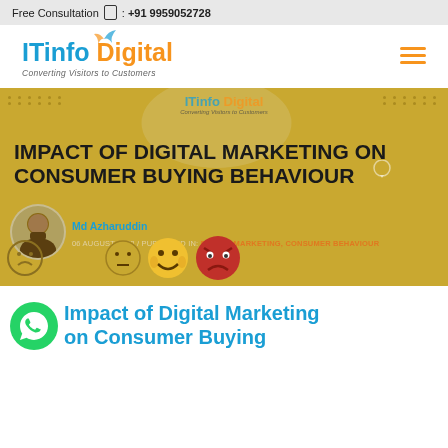Free Consultation : +91 9959052728
[Figure (logo): ITinfo Digital logo with tagline 'Converting Visitors to Customers' and hamburger menu icon]
[Figure (illustration): Hero banner with gold background showing 'IMPACT OF DIGITAL MARKETING ON CONSUMER BUYING BEHAVIOUR', author Md Azharuddin, date 06 August 2022, published in digital marketing categories, with emoji faces]
Impact of Digital Marketing on Consumer Buying